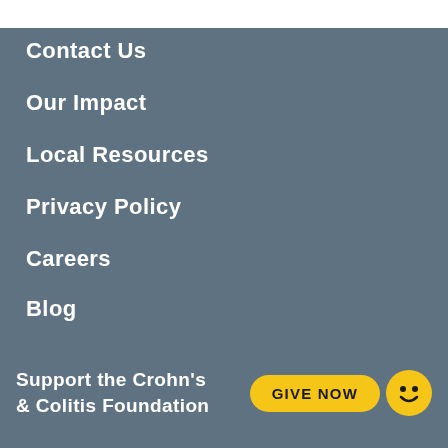Contact Us
Our Impact
Local Resources
Privacy Policy
Careers
Blog
Shop
Sign In
Support the Crohn's & Colitis Foundation
GIVE NOW